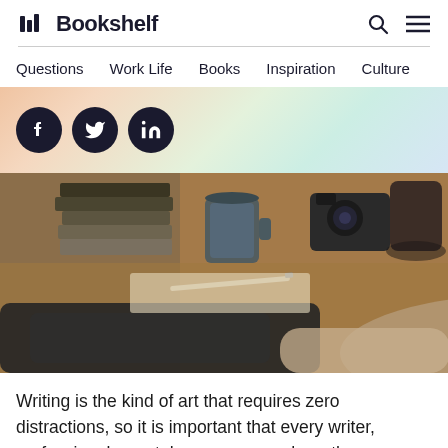Bookshelf
Questions  Work Life  Books  Inspiration  Culture
[Figure (illustration): Three social share buttons: Facebook (f), Twitter (bird), LinkedIn (in) as dark circular icons]
[Figure (photo): A cozy writer's desk with stacked books, a mug, a camera, notebooks and a pen, and a dark sweater or jacket in the foreground, warm toned photo]
Writing is the kind of art that requires zero distractions, so it is important that every writer, professional or not, have a space where they can retreat to their work without interruption. It can be